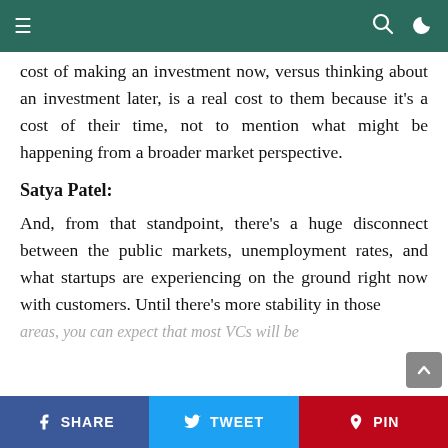≡   🔍  ☽
cost of making an investment now, versus thinking about an investment later, is a real cost to them because it's a cost of their time, not to mention what might be happening from a broader market perspective.
Satya Patel:
And, from that standpoint, there's a huge disconnect between the public markets, unemployment rates, and what startups are experiencing on the ground right now with customers. Until there's more stability in those areas, you can expect that most VCs will be
f SHARE   🐦 TWEET   ℗ PIN